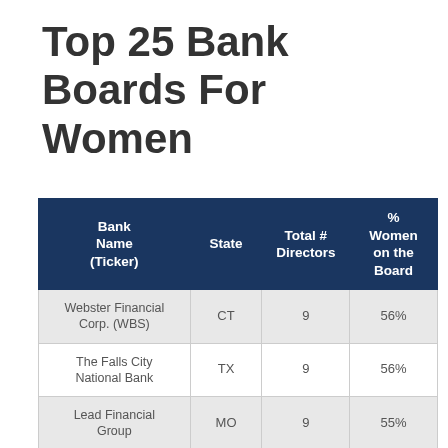Top 25 Bank Boards For Women
| Bank Name (Ticker) | State | Total # Directors | % Women on the Board |
| --- | --- | --- | --- |
| Webster Financial Corp. (WBS) | CT | 9 | 56% |
| The Falls City National Bank | TX | 9 | 56% |
| Lead Financial Group | MO | 9 | 55% |
| First United Corp. | MD | 12 | 50% |